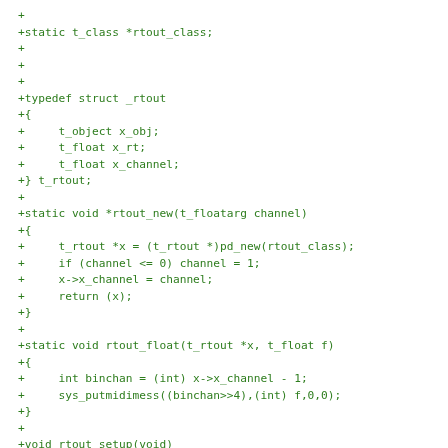+
+static t_class *rtout_class;
+
+
+
+typedef struct _rtout
+{
+     t_object x_obj;
+     t_float x_rt;
+     t_float x_channel;
+} t_rtout;
+
+static void *rtout_new(t_floatarg channel)
+{
+     t_rtout *x = (t_rtout *)pd_new(rtout_class);
+     if (channel <= 0) channel = 1;
+     x->x_channel = channel;
+     return (x);
+}
+
+static void rtout_float(t_rtout *x, t_float f)
+{
+     int binchan = (int) x->x_channel - 1;
+     sys_putmidimess((binchan>>4),(int) f,0,0);
+}
+
+void rtout_setup(void)
+{
+     rtout_class = class_new(gensym("rtout"), (t_ne
+       sizeof(t_rtout), 0, A_DEFFLOAT, A_DEFFLOAT